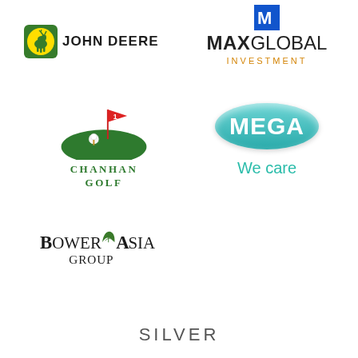[Figure (logo): John Deere logo with leaping deer icon and JOHN DEERE text]
[Figure (logo): MaxGlobal Investment logo with M icon, MAXGLOBAL text and INVESTMENT subtitle in orange]
[Figure (logo): ChanHan Golf logo with golf course illustration and green text]
[Figure (logo): MEGA We care logo with teal oval and We care text]
[Figure (logo): Bower Asia Group Asia logo with leaf icon]
SILVER